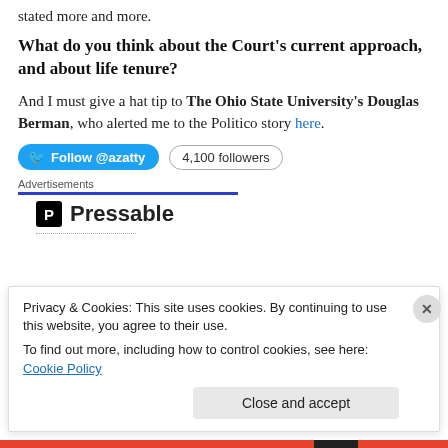stated more and more.
What do you think about the Court's current approach, and about life tenure?
And I must give a hat tip to The Ohio State University's Douglas Berman, who alerted me to the Politico story here.
Follow @azatty   4,100 followers
Advertisements
[Figure (logo): Pressable logo with bold P icon and Pressable text]
Privacy & Cookies: This site uses cookies. By continuing to use this website, you agree to their use.
To find out more, including how to control cookies, see here: Cookie Policy
Close and accept